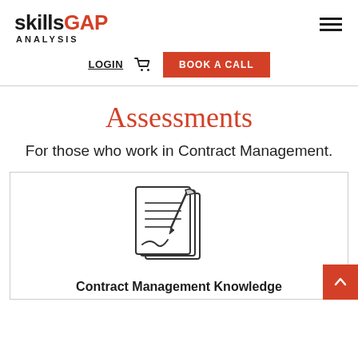skills GAP ANALYSIS
LOGIN   BOOK A CALL
Assessments
For those who work in Contract Management.
[Figure (illustration): Hand-drawn style illustration of a document/contract with lines representing text, and a pen/quill signing it, with a signature at the bottom.]
Contract Management Knowledge